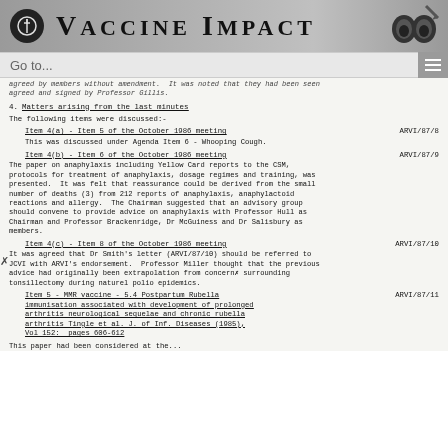VACCINE IMPACT
agreed by members without amendment. It was noted that they had been seen agreed and signed by Professor Gillis.
4. Matters arising from the last minutes
The following items were discussed:-
Item 4(a) - Item 5 of the October 1986 meeting   ARVI/87/8
This was discussed under Agenda Item 6 - Whooping Cough.
Item 4(b) - Item 6 of the October 1986 meeting   ARVI/87/9
The paper on anaphylaxis including Yellow Card reports to the CSM, protocols for treatment of anaphylaxis, dosage regimes and training, was presented. It was felt that reassurance could be derived from the small number of deaths (3) from 212 reports of anaphylaxis, anaphylactoid reactions and allergy. The Chairman suggested that an advisory group should convene to provide advice on anaphylaxis with Professor Hull as Chairman and Professor Brackenridge, Dr McGuiness and Dr Salisbury as members.
Item 4(c) - Item 8 of the October 1986 meeting   ARVI/87/10
It was agreed that Dr Smith's letter (ARVI/87/10) should be referred to JCVI with ARVI's endorsement. Professor Miller thought that the previous advice had originally been extrapolation from concerns surrounding tonsillectomy during naturel polio epidemics.
Item 5 - MMR vaccine - 5.4 Postpartum Rubella immunisation associated with development of prolonged arthritis neurological sequelae and chronic rubella arthritis Tingle et al. J. of Inf. Diseases (1985), Vol 152: pages 606-612   ARVI/87/11
This paper had been considered at the...